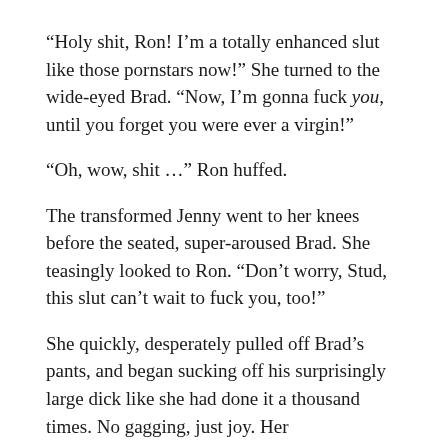“Holy shit, Ron! I’m a totally enhanced slut like those pornstars now!” She turned to the wide-eyed Brad. “Now, I’m gonna fuck you, until you forget you were ever a virgin!”
“Oh, wow, shit …” Ron huffed.
The transformed Jenny went to her knees before the seated, super-aroused Brad. She teasingly looked to Ron. “Don’t worry, Stud, this slut can’t wait to fuck you, too!”
She quickly, desperately pulled off Brad’s pants, and began sucking off his surprisingly large dick like she had done it a thousand times. No gagging, just joy. Her